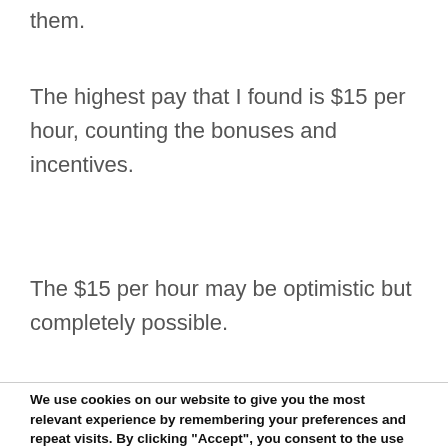them.
The highest pay that I found is $15 per hour, counting the bonuses and incentives.
The $15 per hour may be optimistic but completely possible.
We use cookies on our website to give you the most relevant experience by remembering your preferences and repeat visits. By clicking “Accept”, you consent to the use of ALL the cookies.
Do not sell my personal information.
Cookie settings
ACCEPT